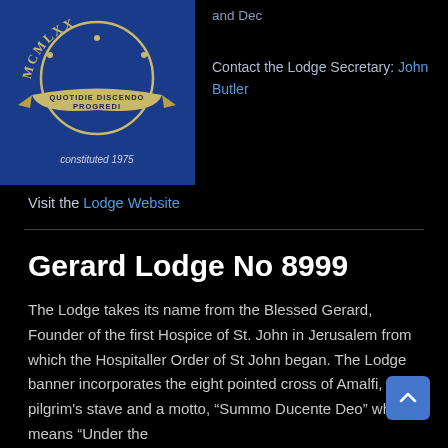[Figure (photo): Lodge badge/crest photo showing MCMLXX... text, 'QUOTIDIE DISCENDO PROGREDI' motto on a banner, blue background, 'constituted 1975' text at bottom]
and Dec
Contact the Lodge Secretary: John Butler
Visit the Lodge Website
Gerard Lodge No 8999
The Lodge takes its name from the Blessed Gerard, Founder of the first Hospice of St. John in Jerusalem from which the Hospitaller Order of St John began. The Lodge banner incorporates the eight pointed cross of Amalfi, a pilgrim's stave and a motto, “Summo Ducente Deo” which means “Under the